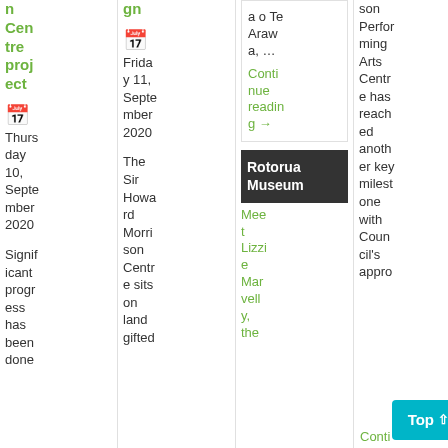n Centre project
Thursday 10, September 2020
Significant progress has been done
gn
Friday 11, September 2020
The Sir Howard Morrison Centre sits on land gifted
a o Te Arawa, …
Continue reading →
Rotorua Museum
Meet Lizzie Marvell, the
son Performing Arts Centre has reached another key milestone with Council's appro
Top ↑
Conti